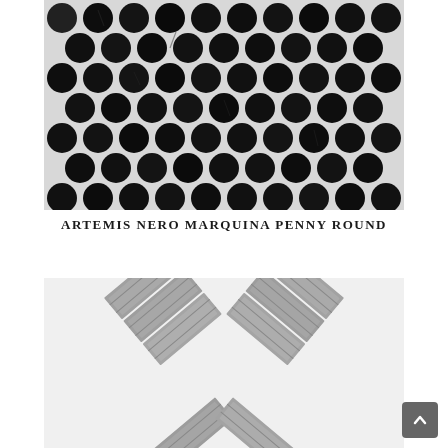[Figure (photo): Close-up photo of Artemis Nero Marquina penny round mosaic tiles — black marble circular discs arranged in a grid pattern on a white grout background]
ARTEMIS NERO MARQUINA PENNY ROUND
[Figure (photo): Photo of gray stone/marble herringbone mosaic tiles — rectangular grey marble pieces arranged in a chevron/herringbone pattern on a white background]